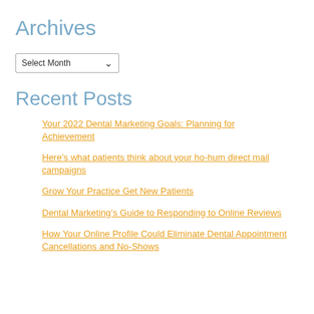Archives
Select Month
Recent Posts
Your 2022 Dental Marketing Goals: Planning for Achievement
Here’s what patients think about your ho-hum direct mail campaigns
Grow Your Practice Get New Patients
Dental Marketing’s Guide to Responding to Online Reviews
How Your Online Profile Could Eliminate Dental Appointment Cancellations and No-Shows